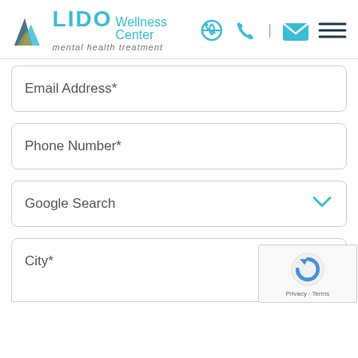[Figure (logo): Lido Wellness Center logo with mountain/sail icon and text 'LIDO Wellness Center mental health treatment' with phone, email, and menu icons in header]
Email Address*
Phone Number*
Google Search
City*